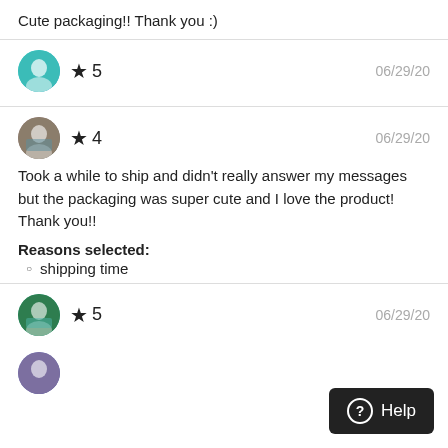Cute packaging!! Thank you :)
★ 5   06/29/20
★ 4   06/29/20
Took a while to ship and didn't really answer my messages but the packaging was super cute and I love the product! Thank you!!
Reasons selected:
shipping time
★ 5   06/29/20